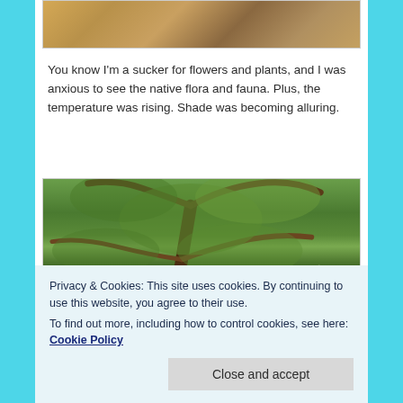[Figure (photo): Partial photo at top showing dried leaves and earth/ground cover, cropped at top of page]
You know I'm a sucker for flowers and plants, and I was anxious to see the native flora and fauna. Plus, the temperature was rising. Shade was becoming alluring.
[Figure (photo): Photo of a large tree with spreading branches and green foliage in what appears to be a tropical or subtropical garden setting]
Privacy & Cookies: This site uses cookies. By continuing to use this website, you agree to their use.
To find out more, including how to control cookies, see here: Cookie Policy
Close and accept